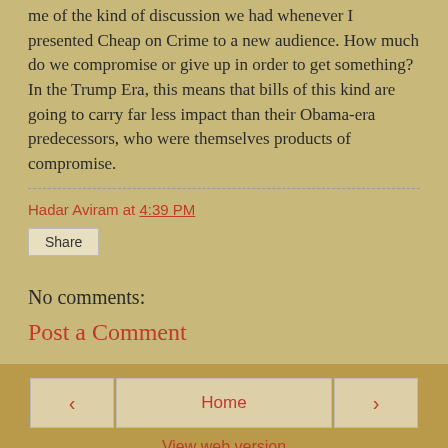me of the kind of discussion we had whenever I presented Cheap on Crime to a new audience. How much do we compromise or give up in order to get something? In the Trump Era, this means that bills of this kind are going to carry far less impact than their Obama-era predecessors, who were themselves products of compromise.
Hadar Aviram at 4:39 PM
Share
No comments:
Post a Comment
Home
View web version
Powered by Blogger.